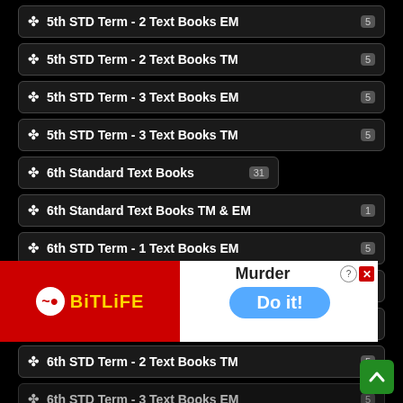5th STD Term - 2 Text Books EM   5
5th STD Term - 2 Text Books TM   5
5th STD Term - 3 Text Books EM   5
5th STD Term - 3 Text Books TM   5
6th Standard Text Books   31
6th Standard Text Books TM & EM   1
6th STD Term - 1 Text Books EM   5
6th STD Term - 1 Text Books TM   5
6th STD Term - 2 Text Books EM   5
6th STD Term - 2 Text Books TM   5
6th STD Term - 3 Text Books EM   5
6th STD Term - 3 Text Books TM   5
6th Term - 1 Text Books EM   5
6th Term - 1 Text Books TM   5
[Figure (screenshot): Ad overlay: BitLife app ad on left (red background with BitLife logo), Murder/Do it! game ad on right (white background with blue button). Close button top right.]